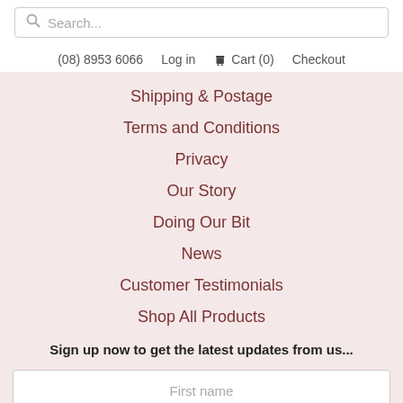Search...
(08) 8953 6066   Log in   Cart (0)   Checkout
Shipping & Postage
Terms and Conditions
Privacy
Our Story
Doing Our Bit
News
Customer Testimonials
Shop All Products
Sign up now to get the latest updates from us...
First name
Last name